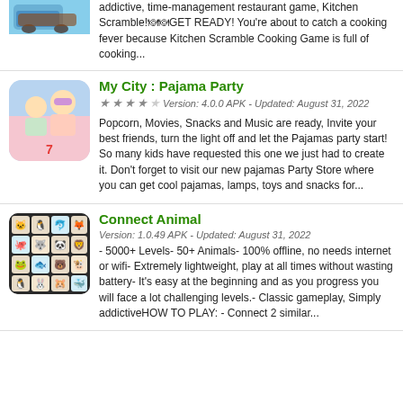[Figure (illustration): App icon for a restaurant/cooking game (top left, partially cropped)]
addictive, time-management restaurant game, Kitchen Scramble!🍳🍳GET READY! You're about to catch a cooking fever because Kitchen Scramble Cooking Game is full of cooking...
[Figure (illustration): App icon for My City: Pajama Party showing cartoon girls at a sleepover]
My City : Pajama Party
★★★★☆  Version: 4.0.0 APK - Updated: August 31, 2022
Popcorn, Movies, Snacks and Music are ready, Invite your best friends, turn the light off and let the Pajamas party start! So many kids have requested this one we just had to create it. Don't forget to visit our new pajamas Party Store where you can get cool pajamas, lamps, toys and snacks for...
[Figure (illustration): App icon for Connect Animal showing a 4x4 grid of animal emoji tiles]
Connect Animal
Version: 1.0.49 APK - Updated: August 31, 2022
- 5000+ Levels- 50+ Animals- 100% offline, no needs internet or wifi- Extremely lightweight, play at all times without wasting battery- It's easy at the beginning and as you progress you will face a lot challenging levels.- Classic gameplay, Simply addictiveHOW TO PLAY: - Connect 2 similar...